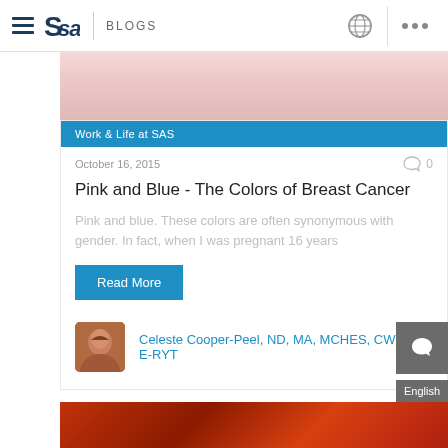SAS BLOGS
[Figure (photo): Partial cropped photo showing a person's lower face/smile area, pink tones]
Work & Life at SAS
October 16, 2015
Pink and Blue - The Colors of Breast Cancer
Pink and blue.  These colors are often synonymous with gender. In fact, when I was pregnant 16 years
Read More
[Figure (photo): Author headshot of Celeste Cooper-Peel, a woman with brown hair]
Celeste Cooper-Peel, ND, MA, MCHES, CWHC, E-RYT
[Figure (photo): Bottom partial image with red/orange gradient background, another blog post preview]